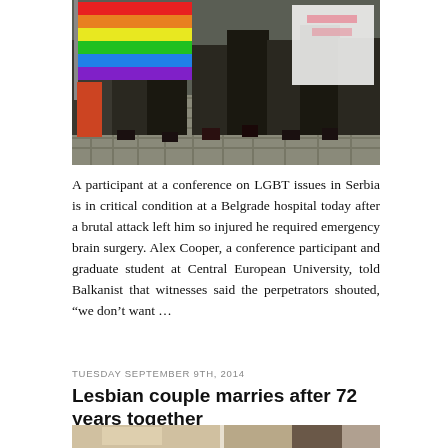[Figure (photo): Protest participants holding a rainbow pride flag and a white banner, standing on cobblestone pavement.]
A participant at a conference on LGBT issues in Serbia is in critical condition at a Belgrade hospital today after a brutal attack left him so injured he required emergency brain surgery. Alex Cooper, a conference participant and graduate student at Central European University, told Balkanist that witnesses said the perpetrators shouted, “we don’t want …
TUESDAY SEPTEMBER 9TH, 2014
Lesbian couple marries after 72 years together
[Figure (photo): Bottom portion of a photo showing two people at what appears to be an indoor event, partially visible.]